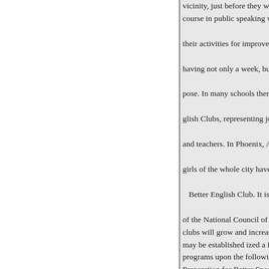vicinity, just before they went in course in public speaking with o their activities for improvement having not only a week, but a ye pose. In many schools there are n glish Clubs, representing joint ac and teachers. In Phoenix, Arizon girls of the whole city have orga Better English Club. It is hope of the National Council of the Te clubs will grow and increase in v may be established ized a Better programs upon the following sub Preparation for Better Speech W of the Speech Movement is the g ness of the press to co-operate. W years ago an inch space in a larg considered a boon, now one find Detroit News" willing to devote